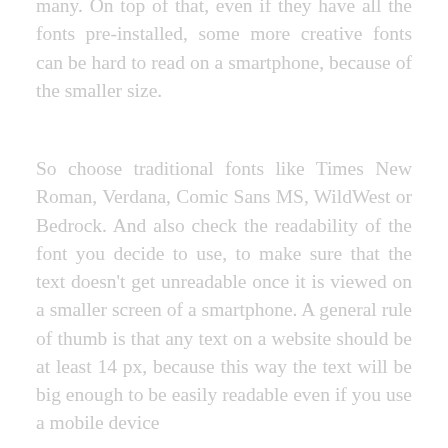many. On top of that, even if they have all the fonts pre-installed, some more creative fonts can be hard to read on a smartphone, because of the smaller size.
So choose traditional fonts like Times New Roman, Verdana, Comic Sans MS, WildWest or Bedrock. And also check the readability of the font you decide to use, to make sure that the text doesn't get unreadable once it is viewed on a smaller screen of a smartphone. A general rule of thumb is that any text on a website should be at least 14 px, because this way the text will be big enough to be easily readable even if you use a mobile device